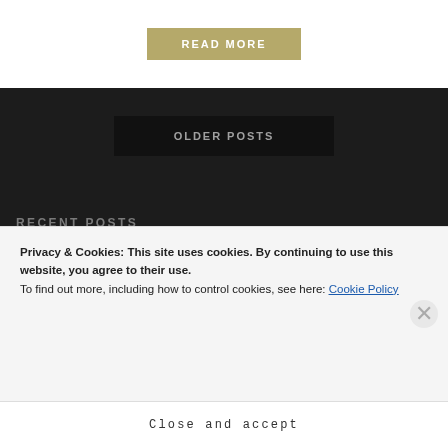READ MORE
OLDER POSTS
RECENT POSTS
Privacy & Cookies: This site uses cookies. By continuing to use this website, you agree to their use.
To find out more, including how to control cookies, see here: Cookie Policy
Close and accept